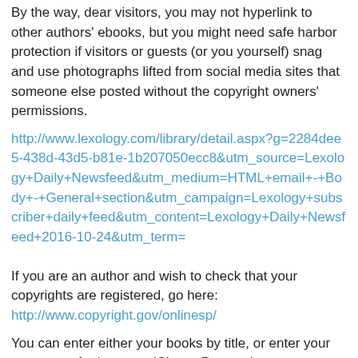By the way, dear visitors, you may not hyperlink to other authors' ebooks, but you might need safe harbor protection if visitors or guests (or you yourself) snag and use photographs lifted from social media sites that someone else posted without the copyright owners' permissions.
http://www.lexology.com/library/detail.aspx?g=2284dee5-438d-43d5-b81e-1b207050ecc8&utm_source=Lexology+Daily+Newsfeed&utm_medium=HTML+email+-+Body+-+General+section&utm_campaign=Lexology+subscriber+daily+feed&utm_content=Lexology+Daily+Newsfeed+2016-10-24&utm_term=
If you are an author and wish to check that your copyrights are registered, go here: http://www.copyright.gov/onlinesp/
You can enter either your books by title, or enter your own name for instance (Cherry Rowena) or even search by keyword.